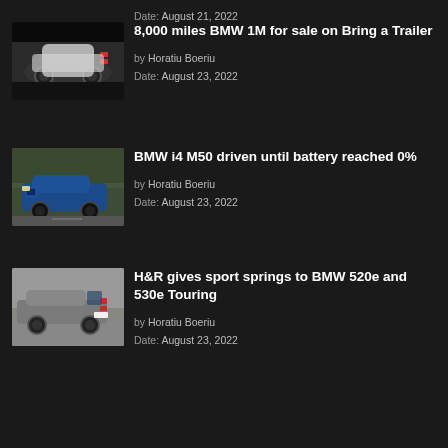Date: August 21, 2022 (partial, top of page)
[Figure (photo): White BMW 1M coupe in a dark showroom with dramatic lighting]
8,000 miles BMW 1M for sale on Bring a Trailer
by Horatiu Boeriu
Date: August 23, 2022
[Figure (photo): Blue BMW i4 M50 driving on a road with trees in background]
BMW i4 M50 driven until battery reached 0%
by Horatiu Boeriu
Date: August 23, 2022
[Figure (photo): Grey BMW 5 Series Touring wagon parked on a road]
H&R gives sport springs to BMW 520e and 530e Touring
by Horatiu Boeriu
Date: August 23, 2022